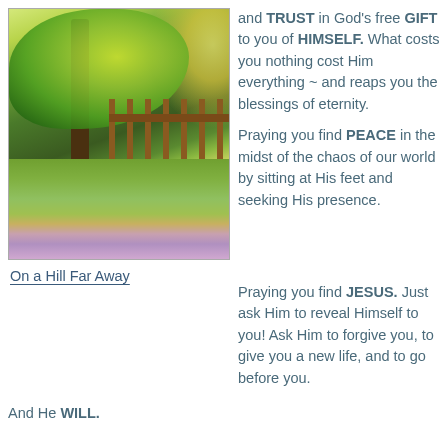[Figure (illustration): Watercolor painting of a tree with lush green canopy, a wooden fence, and a colorful wildflower meadow in the foreground with a bright sky background.]
On a Hill Far Away
and TRUST in God's free GIFT to you of HIMSELF. What costs you nothing cost Him everything ~ and reaps you the blessings of eternity.

Praying you find PEACE in the midst of the chaos of our world by sitting at His feet and seeking His presence.

Praying you find JESUS. Just ask Him to reveal Himself to you! Ask Him to forgive you, to give you a new life, and to go before you.

And He WILL.